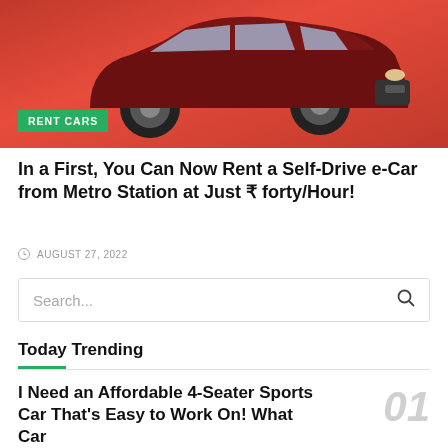[Figure (photo): A dark red SUV car photographed against a bright red background, showing the front and side view with visible wheels and front bumper.]
RENT CARS
In a First, You Can Now Rent a Self-Drive e-Car from Metro Station at Just ₹ forty/Hour!
AUGUST 27, 2022
Search...
Today Trending
I Need an Affordable 4-Seater Sports Car That's Easy to Work On! What Car